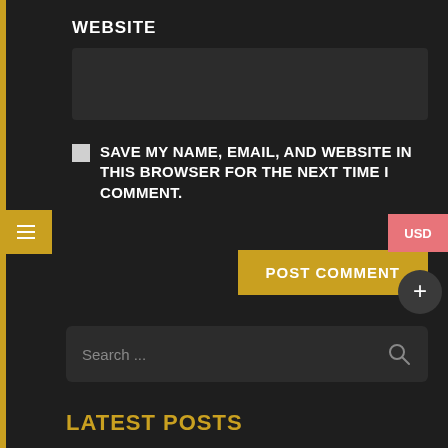WEBSITE
[Figure (screenshot): Dark-themed website comment form section showing a WEBSITE label, a dark input box, a checkbox, 'SAVE MY NAME, EMAIL, AND WEBSITE IN THIS BROWSER FOR THE NEXT TIME I COMMENT.' text, a gold POST COMMENT button, a hamburger menu button on the left, a USD button on the right, a plus button, a search bar with placeholder text, and LATEST POSTS section header at the bottom.]
SAVE MY NAME, EMAIL, AND WEBSITE IN THIS BROWSER FOR THE NEXT TIME I COMMENT.
POST COMMENT
Search ...
LATEST POSTS